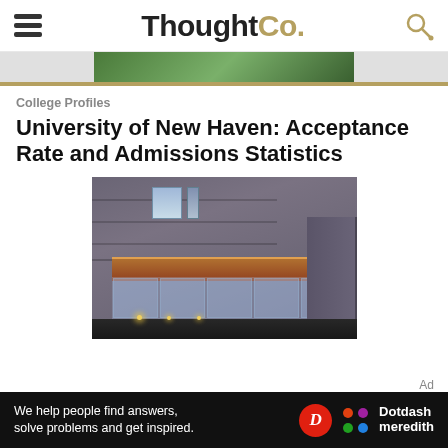ThoughtCo.
College Profiles
University of New Haven: Acceptance Rate and Admissions Statistics
[Figure (photo): Exterior photo of a University of New Haven building at dusk, showing a modern structure with glass entrance doors and warm lighting]
[Figure (other): Advertisement banner: 'We help people find answers, solve problems and get inspired.' with Dotdash Meredith logo]